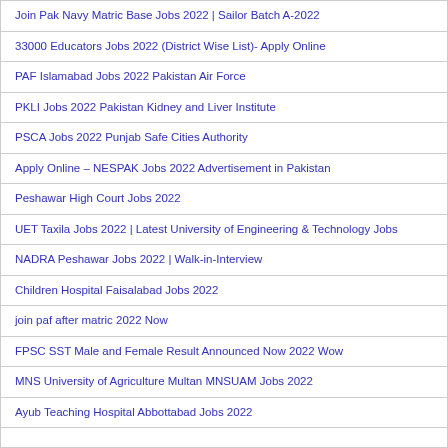Join Pak Navy Matric Base Jobs 2022 | Sailor Batch A-2022
33000 Educators Jobs 2022 (District Wise List)- Apply Online
PAF Islamabad Jobs 2022 Pakistan Air Force
PKLI Jobs 2022 Pakistan Kidney and Liver Institute
PSCA Jobs 2022 Punjab Safe Cities Authority
Apply Online – NESPAK Jobs 2022 Advertisement in Pakistan
Peshawar High Court Jobs 2022
UET Taxila Jobs 2022 | Latest University of Engineering & Technology Jobs
NADRA Peshawar Jobs 2022 | Walk-in-Interview
Children Hospital Faisalabad Jobs 2022
join paf after matric 2022 Now
FPSC SST Male and Female Result Announced Now 2022 Wow
MNS University of Agriculture Multan MNSUAM Jobs 2022
Ayub Teaching Hospital Abbottabad Jobs 2022